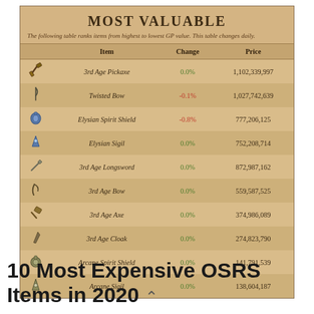Most Valuable
The following table ranks items from highest to lowest GP value. This table changes daily.
|  | Item | Change | Price |
| --- | --- | --- | --- |
| [icon] | 3rd Age Pickaxe | 0.0% | 1,102,339,997 |
| [icon] | Twisted Bow | -0.1% | 1,027,742,639 |
| [icon] | Elysian Spirit Shield | -0.8% | 777,206,125 |
| [icon] | Elysian Sigil | 0.0% | 752,208,714 |
| [icon] | 3rd Age Longsword | 0.0% | 872,987,162 |
| [icon] | 3rd Age Bow | 0.0% | 559,587,525 |
| [icon] | 3rd Age Axe | 0.0% | 374,986,089 |
| [icon] | 3rd Age Cloak | 0.0% | 274,823,790 |
| [icon] | Arcane Spirit Shield | 0.0% | 141,791,539 |
| [icon] | Arcane Sigil | 0.0% | 138,604,187 |
10 Most Expensive OSRS Items in 2020